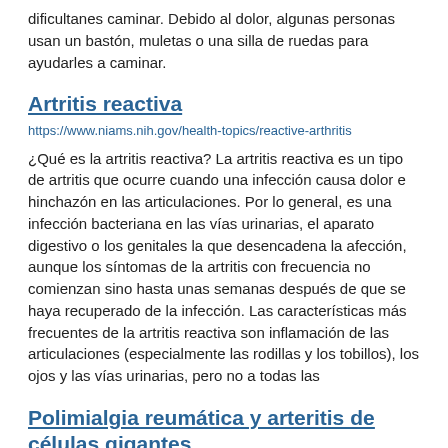dificultades caminar. Debido al dolor, algunas personas usan un bastón, muletas o una silla de ruedas para ayudarles a caminar.
Artritis reactiva
https://www.niams.nih.gov/health-topics/reactive-arthritis
¿Qué es la artritis reactiva? La artritis reactiva es un tipo de artritis que ocurre cuando una infección causa dolor e hinchazón en las articulaciones. Por lo general, es una infección bacteriana en las vías urinarias, el aparato digestivo o los genitales la que desencadena la afección, aunque los síntomas de la artritis con frecuencia no comienzan sino hasta unas semanas después de que se haya recuperado de la infección. Las características más frecuentes de la artritis reactiva son inflamación de las articulaciones (especialmente las rodillas y los tobillos), los ojos y las vías urinarias, pero no a todas las
Polimialgia reumática y arteritis de células gigantes
https://www.niams.nih.gov/health-topics/polymyalgia-rheumatica-giant-cell-arteritis
¿Qué son la polimialgia reumática y la arteritis de células gigantes? La polimialgia reumática y la arteritis de células gigantes son trastornos inflamatorios estrechamente relacionados. Algunas personas